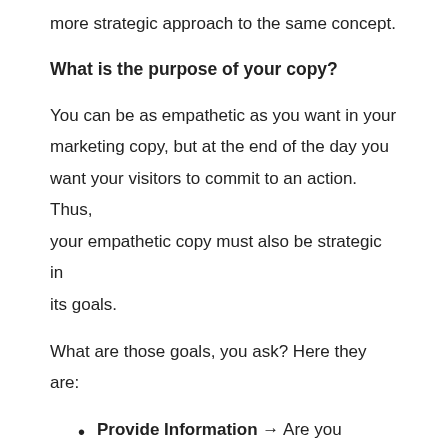more strategic approach to the same concept.
What is the purpose of your copy?
You can be as empathetic as you want in your marketing copy, but at the end of the day you want your visitors to commit to an action. Thus, your empathetic copy must also be strategic in its goals.
What are those goals, you ask? Here they are:
Provide Information → Are you launching a branding campaign about a completely new product? Maybe you're not at the